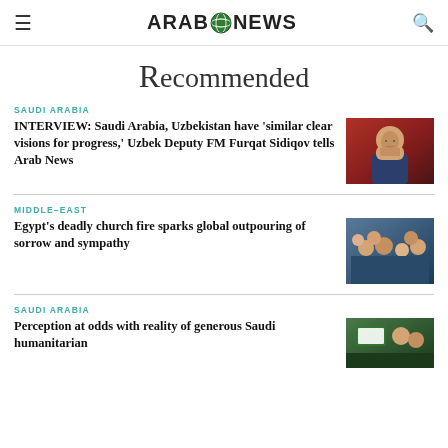ARAB NEWS
Recommended
SAUDI ARABIA
INTERVIEW: Saudi Arabia, Uzbekistan have 'similar clear visions for progress,' Uzbek Deputy FM Furqat Sidiqov tells Arab News
[Figure (photo): Portrait photo of a man in a suit with glasses]
MIDDLE-EAST
Egypt's deadly church fire sparks global outpouring of sorrow and sympathy
[Figure (photo): Crowd of people at a gathering]
SAUDI ARABIA
Perception at odds with reality of generous Saudi humanitarian